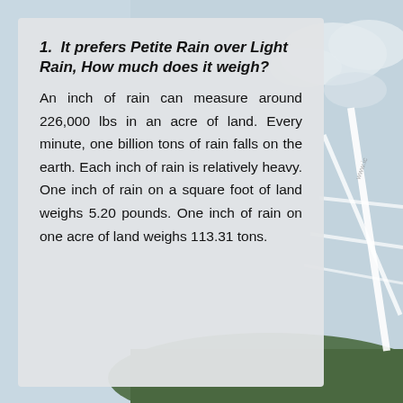1. It prefers Petite Rain over Light Rain, How much does it weigh?
An inch of rain can measure around 226,000 lbs in an acre of land. Every minute, one billion tons of rain falls on the earth. Each inch of rain is relatively heavy. One inch of rain on a square foot of land weighs 5.20 pounds. One inch of rain on one acre of land weighs 113.31 tons.